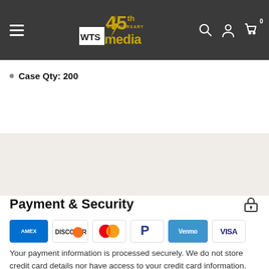[Figure (logo): WTS Media 45th Anniversary logo with hamburger menu, search, account, and cart icons on dark grey header]
Case Qty: 200
Payment & Security
[Figure (infographic): Payment method icons: American Express, Discover, Mastercard, PayPal, Venmo, Visa]
Your payment information is processed securely. We do not store credit card details nor have access to your credit card information.